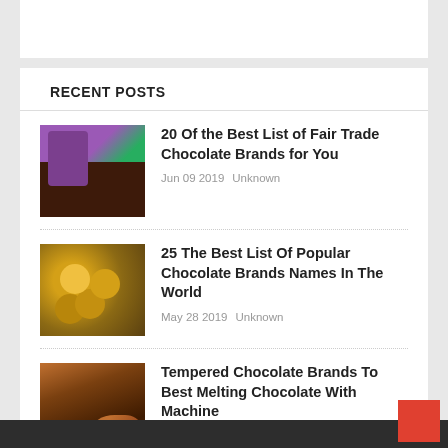RECENT POSTS
20 Of the Best List of Fair Trade Chocolate Brands for You — Jun 09 2019 Unknown
25 The Best List Of Popular Chocolate Brands Names In The World — May 28 2019 Unknown
Tempered Chocolate Brands To Best Melting Chocolate With Machine — May 14 2019 Unknown